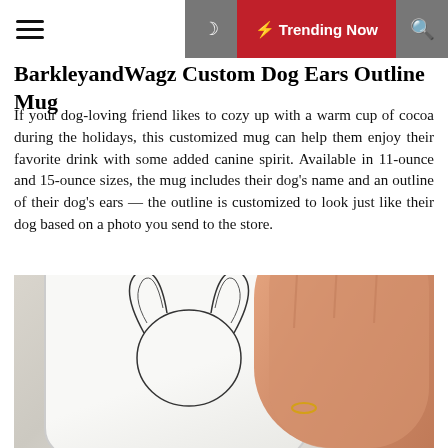☰ 🌙 ⚡ Trending Now 🔍
BarkleyandWagz Custom Dog Ears Outline Mug
If your dog-loving friend likes to cozy up with a warm cup of cocoa during the holidays, this customized mug can help them enjoy their favorite drink with some added canine spirit. Available in 11-ounce and 15-ounce sizes, the mug includes their dog's name and an outline of their dog's ears — the outline is customized to look just like their dog based on a photo you send to the store.
[Figure (photo): A hand holding a white ceramic mug featuring a custom outline illustration of a dog's ears and face, set against a cozy knit sweater background.]